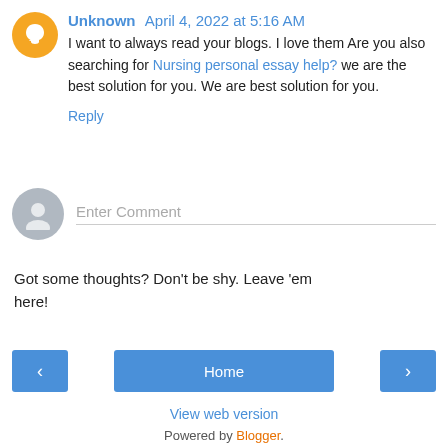Unknown April 4, 2022 at 5:16 AM
I want to always read your blogs. I love them Are you also searching for Nursing personal essay help? we are the best solution for you. We are best solution for you.
Reply
[Figure (other): Gray avatar icon for comment input area]
Enter Comment
Got some thoughts? Don't be shy. Leave 'em here!
‹   Home   ›
View web version
Powered by Blogger.